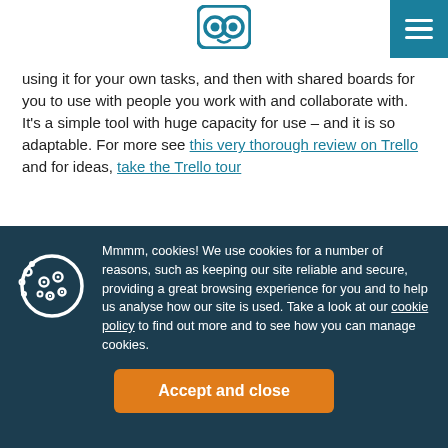[Owl logo] [Hamburger menu]
using it for your own tasks, and then with shared boards for you to use with people you work with and collaborate with. It's a simple tool with huge capacity for use – and it is so adaptable. For more see this very thorough review on Trello and for ideas, take the Trello tour
Sideways surfing – and how people
Mmmm, cookies! We use cookies for a number of reasons, such as keeping our site reliable and secure, providing a great browsing experience for you and to help us analyse how our site is used. Take a look at our cookie policy to find out more and to see how you can manage cookies.
Accept and close